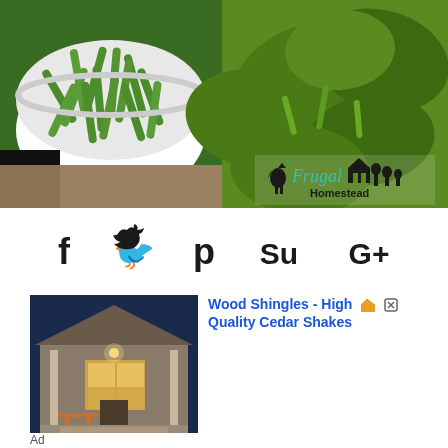[Figure (photo): Two photos side by side: left shows green beans in a white bowl, right shows green bean plants growing with large leaves and a 'A Frugal Homestead' watermark logo]
[Figure (infographic): Social media share icons: Facebook (f), Twitter (bird), Pinterest (p), StumbleUpon (Su), Google+ (G+)]
[Figure (photo): Advertisement image showing a house exterior with wood siding, porch with outdoor furniture, warm lighting]
Wood Shingles - High Quality Cedar Shakes
Ad